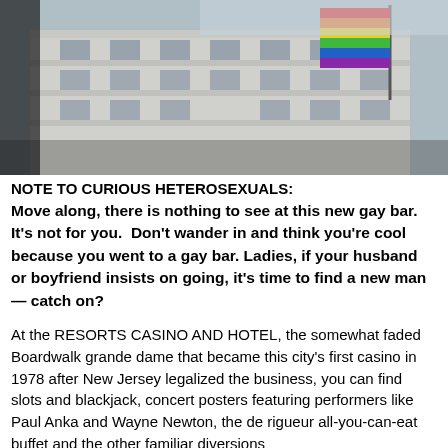[Figure (photo): Photograph of a building facade with a rainbow Pride flag flying from a pole. The building appears to be a multi-story hotel or commercial building with classical architectural details.]
NOTE TO CURIOUS HETEROSEXUALS:
Move along, there is nothing to see at this new gay bar. It's not for you. Don't wander in and think you're cool because you went to a gay bar. Ladies, if your husband or boyfriend insists on going, it's time to find a new man — catch on?
At the RESORTS CASINO AND HOTEL, the somewhat faded Boardwalk grande dame that became this city's first casino in 1978 after New Jersey legalized the business, you can find slots and blackjack, concert posters featuring performers like Paul Anka and Wayne Newton, the de rigueur all-you-can-eat buffet and the other familiar diversions